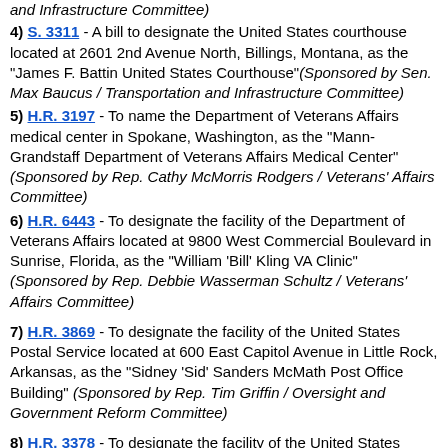and Infrastructure Committee)
4) S. 3311 - A bill to designate the United States courthouse located at 2601 2nd Avenue North, Billings, Montana, as the "James F. Battin United States Courthouse" (Sponsored by Sen. Max Baucus / Transportation and Infrastructure Committee)
5) H.R. 3197 - To name the Department of Veterans Affairs medical center in Spokane, Washington, as the "Mann-Grandstaff Department of Veterans Affairs Medical Center" (Sponsored by Rep. Cathy McMorris Rodgers / Veterans' Affairs Committee)
6) H.R. 6443 - To designate the facility of the Department of Veterans Affairs located at 9800 West Commercial Boulevard in Sunrise, Florida, as the "William 'Bill' Kling VA Clinic" (Sponsored by Rep. Debbie Wasserman Schultz / Veterans' Affairs Committee)
7) H.R. 3869 - To designate the facility of the United States Postal Service located at 600 East Capitol Avenue in Little Rock, Arkansas, as the "Sidney 'Sid' Sanders McMath Post Office Building" (Sponsored by Rep. Tim Griffin / Oversight and Government Reform Committee)
8) H.R. 3378 - To designate the facility of the United States Postal Service located at 220 Elm Avenue in Munising, Michigan, as the "Elizabeth L. Kinnunen Post Office Building" (Sponsored by Rep. Dan Benishek / Oversight and Government Reform Committee)
9) H.R. 4389 - To designate the facility of the United States Postal Service located at 19 East Merced Street in Fowler,